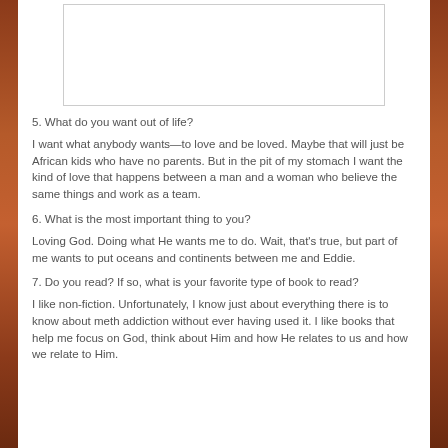[Figure (other): White empty box/image placeholder]
5. What do you want out of life?
I want what anybody wants—to love and be loved. Maybe that will just be African kids who have no parents. But in the pit of my stomach I want the kind of love that happens between a man and a woman who believe the same things and work as a team.
6. What is the most important thing to you?
Loving God. Doing what He wants me to do. Wait, that's true, but part of me wants to put oceans and continents between me and Eddie.
7. Do you read? If so, what is your favorite type of book to read?
I like non-fiction. Unfortunately, I know just about everything there is to know about meth addiction without ever having used it. I like books that help me focus on God, think about Him and how He relates to us and how we relate to Him.